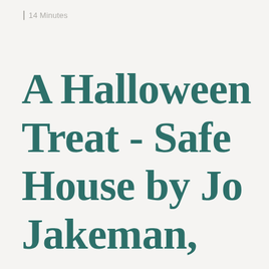≡ 14 Minutes
A Halloween Treat - Safe House by Jo Jakeman,